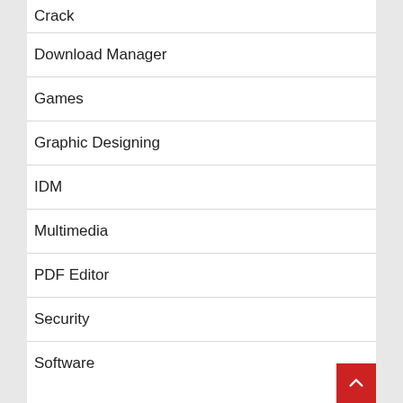Crack
Download Manager
Games
Graphic Designing
IDM
Multimedia
PDF Editor
Security
Software